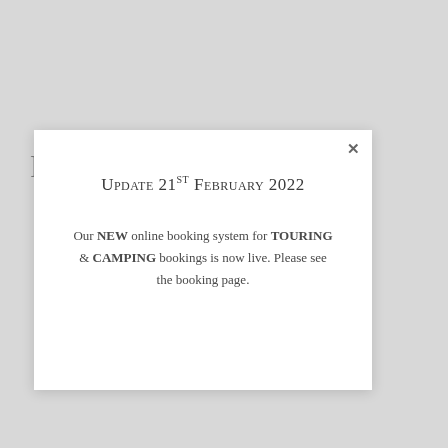Family Holidays
Update 21st February 2022
Our NEW online booking system for TOURING & CAMPING bookings is now live. Please see the booking page.